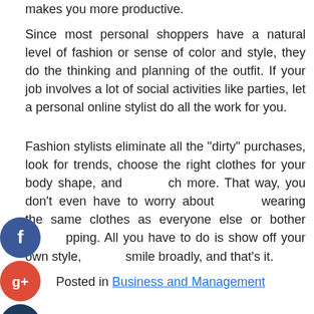makes you more productive.
Since most personal shoppers have a natural level of fashion or sense of color and style, they do the thinking and planning of the outfit. If your job involves a lot of social activities like parties, let a personal online stylist do all the work for you.
Fashion stylists eliminate all the "dirty" purchases, look for trends, choose the right clothes for your body shape, and much more. That way, you don't even have to worry about wearing the same clothes as everyone else or bother shopping. All you have to do is show off your own style, smile broadly, and that's it.
[Figure (infographic): Social media share icons: Facebook (blue circle with f), Google+ (red circle with g+), Twitter (dark blue circle with bird), and a plus/add button (dark blue circle with +)]
Posted in Business and Management